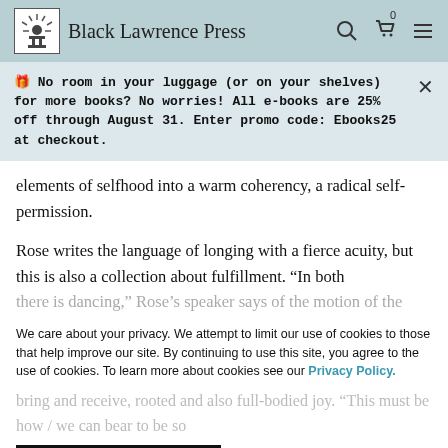Black Lawrence Press
🎁 No room in your luggage (or on your shelves) for more books? No worries! All e-books are 25% off through August 31. Enter promo code: Ebooks25 at checkout.
elements of selfhood into a warm coherency, a radical self-permission.
Rose writes the language of longing with a fierce acuity, but this is also a collection about fulfillment. “In both there is dancing,” Rose’s speaker says of the motion of the
We care about your privacy. We attempt to limit our use of cookies to those that help improve our site. By continuing to use this site, you agree to the use of cookies. To learn more about cookies see our Privacy Policy.
CLOSE AND ACCEPT
bring and receive, rooted and also full-bodied joy. “This must be how / we can bear to be so
to full.”
From at first & then